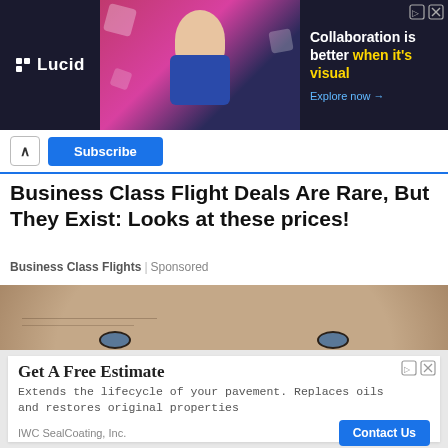[Figure (screenshot): Lucid advertisement banner with dark background showing a person and text 'Collaboration is better when it's visual. Explore now →']
Subscribe
Business Class Flight Deals Are Rare, But They Exist: Looks at these prices!
Business Class Flights | Sponsored
[Figure (photo): Close-up photo of an older man's face with blue eyes and an earring]
[Figure (screenshot): IWC SealCoating advertisement: 'Get A Free Estimate - Extends the lifecycle of your pavement. Replaces oils and restores original properties. IWC SealCoating, Inc. Contact Us']